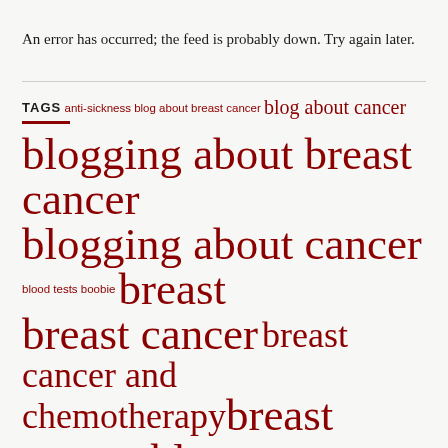An error has occurred; the feed is probably down. Try again later.
TAGS anti-sickness blog about breast cancer blog about cancer blogging about breast cancer blogging about cancer blood tests boobie breast breast cancer breast cancer and chemotherapy breast cancer blog Breast Cancer Care breast reconstruction breast reconstruction surgery